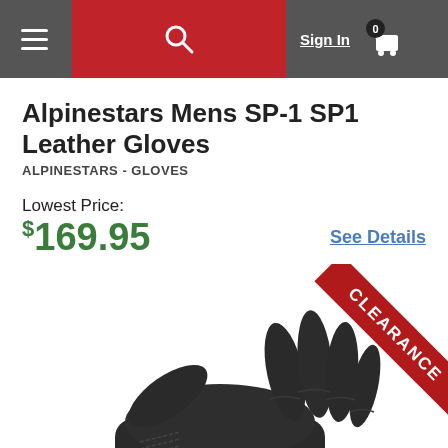Sign In | 0 (cart)
Alpinestars Mens SP-1 SP1 Leather Gloves
ALPINESTARS - GLOVES
Lowest Price:
$169.95
See Details
[Figure (photo): Black leather motorcycle glove with stitched detailing, shown palm-down with fingers extended. A red CLEARANCE ribbon is displayed in the top right corner.]